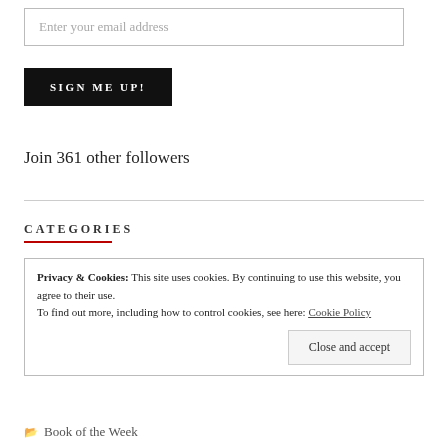Enter your email address
SIGN ME UP!
Join 361 other followers
CATEGORIES
Privacy & Cookies: This site uses cookies. By continuing to use this website, you agree to their use.
To find out more, including how to control cookies, see here: Cookie Policy
Close and accept
Book of the Week